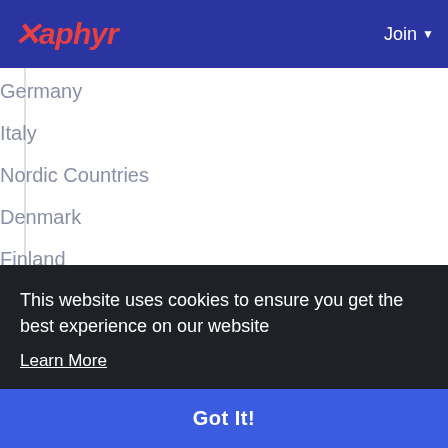Xaphyr — Join
Germany
Italy
Nordic Countries
Denmark
Finland
Iceland
Sweden
Norway
Benelux Union
This website uses cookies to ensure you get the best experience on our website
Learn More
Got It!
Japan